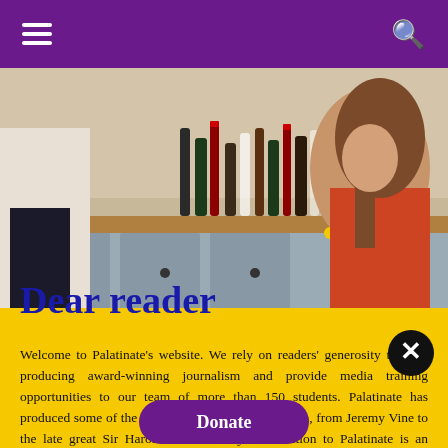Navigation bar with hamburger menu and search icon
[Figure (photo): Photo of people at a party near a bar/counter with many bottles of alcohol. A woman in an orange/red outfit is visible on the right, a person in dark trousers stands on the left near bottles lining a wooden-topped counter.]
Dear reader
Welcome to Palatinate's website. We rely on readers' generosity to keep producing award-winning journalism and provide media training opportunities to our team of more than 150 students. Palatinate has produced some of the biggest names in British media, from Jeremy Vine to the late great Sir Harold Evans. Every contribution to Palatinate is an investment into the future of journalism.
Donate